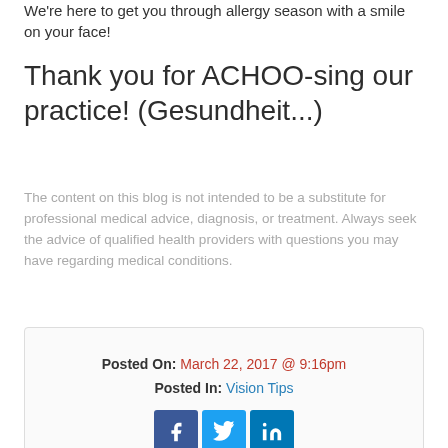We're here to get you through allergy season with a smile on your face!
Thank you for ACHOO-sing our practice! (Gesundheit...)
The content on this blog is not intended to be a substitute for professional medical advice, diagnosis, or treatment. Always seek the advice of qualified health providers with questions you may have regarding medical conditions.
Posted On: March 22, 2017 @ 9:16pm
Posted In: Vision Tips
[Figure (infographic): Social share buttons: Facebook (blue), Twitter (light blue), LinkedIn (dark blue)]